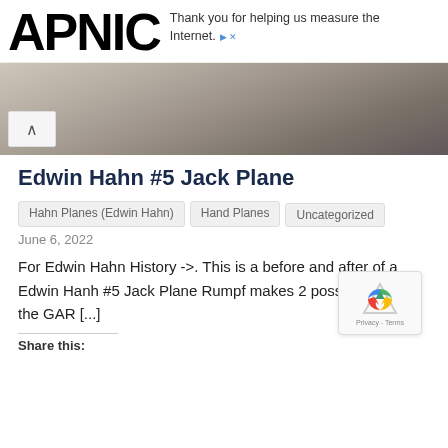APNIC — Thank you for helping us measure the Internet.
[Figure (photo): A wooden surface with a dark metal hand plane tool visible, photographed close up. Navigation arrow chevron visible at lower left.]
Edwin Hahn #5 Jack Plane
Hahn Planes (Edwin Hahn)
Hand Planes
Uncategorized
June 6, 2022
For Edwin Hahn History ->. This is a before and after of a Edwin Hanh #5 Jack Plane Rumpf makes 2 possibilities for the GAR [...]
Share this: